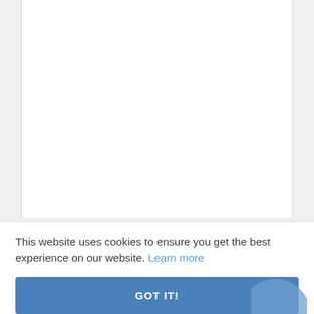[Figure (screenshot): White document area with light blue side borders, representing a webpage content area]
This website uses cookies to ensure you get the best experience on our website. Learn more
GOT IT!